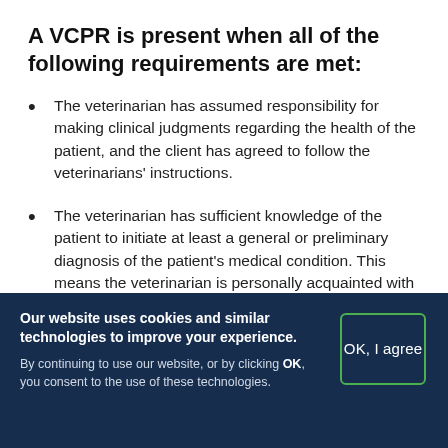A VCPR is present when all of the following requirements are met:
The veterinarian has assumed responsibility for making clinical judgments regarding the health of the patient, and the client has agreed to follow the veterinarians' instructions.
The veterinarian has sufficient knowledge of the patient to initiate at least a general or preliminary diagnosis of the patient's medical condition. This means the veterinarian is personally acquainted with
Our website uses cookies and similar technologies to improve your experience. By continuing to use our website, or by clicking OK, you consent to the use of these technologies.